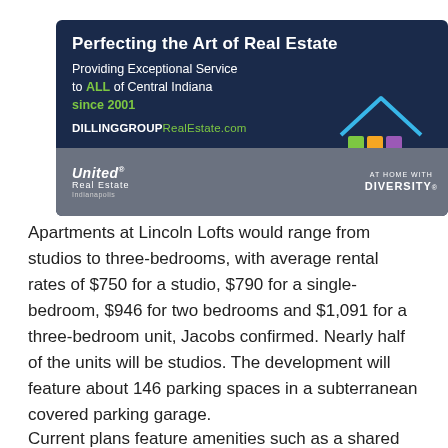[Figure (illustration): Real estate advertisement for Dilling Group Real Estate. Dark navy background with bold white title 'Perfecting the Art of Real Estate', subtitle about providing exceptional service to ALL of Central Indiana since 2001, website URL DILLINGGROUPRealEstate.com, United Real Estate logo, and AT HOME WITH DIVERSITY logo with colorful house squares graphic.]
Apartments at Lincoln Lofts would range from studios to three-bedrooms, with average rental rates of $750 for a studio, $790 for a single-bedroom, $946 for two bedrooms and $1,091 for a three-bedroom unit, Jacobs confirmed. Nearly half of the units will be studios. The development will feature about 146 parking spaces in a subterranean covered parking garage.
Current plans feature amenities such as a shared rooftop